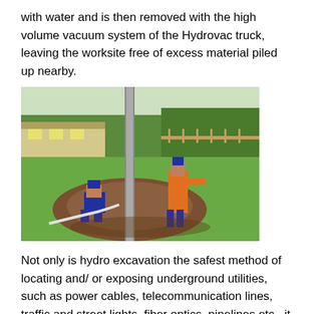with water and is then removed with the high volume vacuum system of the Hydrovac truck, leaving the worksite free of excess material piled up nearby.
[Figure (photo): Two workers performing hydro excavation at a worksite in a grassy park area. One worker crouches near the base of a large pole in an excavated hole while another worker in orange overalls stands and operates equipment. A hose is visible on the ground.]
Not only is hydro excavation the safest method of locating and/ or exposing underground utilities, such as power cables, telecommunication lines, traffic and street lights, fiber optics, pipelines etc., it is also the most cost effective to get at these assets. The process offers incredible flexibility and can perform a very narrow and deep excavation if required.
If you are a plumbing, landscaping or construction contractor, find out more about how EdenFlo Pump Truck Service can be a trusted partner